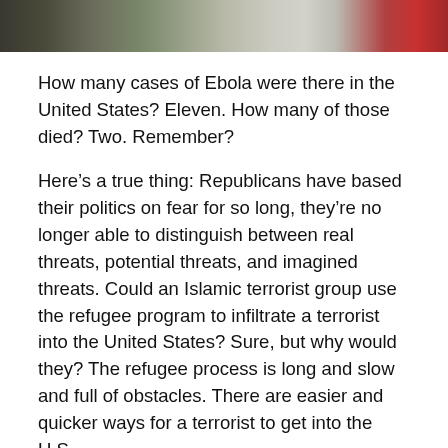[Figure (photo): Partial photo strip at the top of the page showing people, cropped at the top edge.]
How many cases of Ebola were there in the United States? Eleven. How many of those died? Two. Remember?
Here's a true thing: Republicans have based their politics on fear for so long, they're no longer able to distinguish between real threats, potential threats, and imagined threats. Could an Islamic terrorist group use the refugee program to infiltrate a terrorist into the United States? Sure, but why would they? The refugee process is long and slow and full of obstacles. There are easier and quicker ways for a terrorist to get into the U.S.
Remember, refugees are applying for resettlement. They're not asking to visit; they're asking to live in the